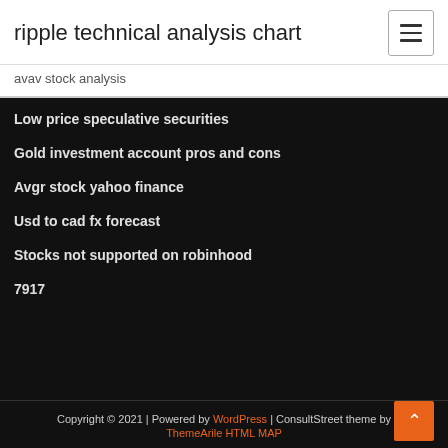ripple technical analysis chart
avav stock analysis
Low price speculative securities
Gold investment account pros and cons
Avgr stock yahoo finance
Usd to cad fx forecast
Stocks not supported on robinhood
7917
Copyright © 2021 | Powered by WordPress | ConsultStreet theme by ThemeArile HTML MAP